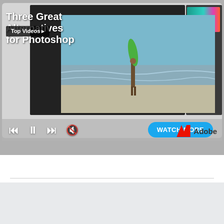[Figure (screenshot): Video player screenshot showing a Photoshop alternatives top video with beach scene, video controls, WATCH MORE button, Adobe logo, and Top Videos badge overlay. Title reads 'Three Great Alternatives for Photoshop'.]
3 Great Alternatives To Photoshopfor Mac| FileHippo
About | Contact us | Advertise | Sitemap | Terms and Conditions | Cookie Policy | Privacy Policy |